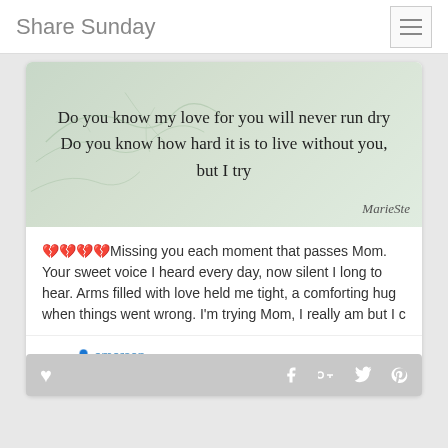Share Sunday
[Figure (illustration): Quote image with light green/teal feather background. Text reads: Do you know my love for you will never run dry / Do you know how hard it is to live without you, but I try. Watermark: MarieSte]
💔💔💔💔Missing you each moment that passes Mom. Your sweet voice I heard every day, now silent I long to hear. Arms filled with love held me tight, a comforting hug when things went wrong. I'm trying Mom, I really am but I c
emerson
Quotes